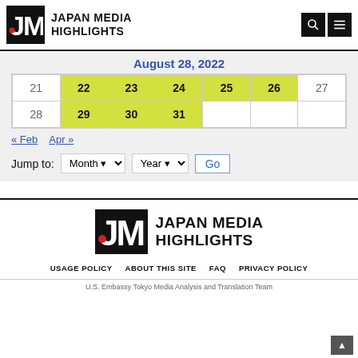JAPAN MEDIA HIGHLIGHTS
August 28, 2022
|  |  |  |  |  |  |  |
| --- | --- | --- | --- | --- | --- | --- |
| 21 | 22 | 23 | 24 | 25 | 26 | 27 |
| 28 | 29 | 30 | 31 |  |  |  |
« Feb   Apr »
Jump to:  Month ▾  Year ▾  Go
[Figure (logo): Japan Media Highlights logo — JMH letters on black background with red dot accent, large footer version]
USAGE POLICY   ABOUT THIS SITE   FAQ   PRIVACY POLICY
U.S. Embassy Tokyo Media Analysis and Translation Team